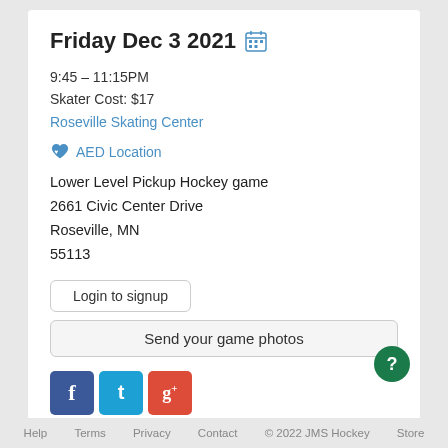Friday Dec 3 2021 🗓
9:45 – 11:15PM
Skater Cost: $17
Roseville Skating Center
❤ AED Location
Lower Level Pickup Hockey game
2661 Civic Center Drive
Roseville, MN
55113
Login to signup
Send your game photos
[Figure (logo): Social media icons: Facebook (blue), Twitter (teal), Google+ (red)]
Help   Terms   Privacy   Contact   © 2022 JMS Hockey   Store